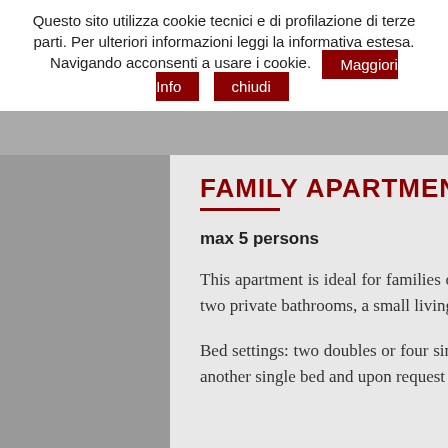Questo sito utilizza cookie tecnici e di profilazione di terze parti. Per ulteriori informazioni leggi la informativa estesa. Navigando acconsenti a usare i cookie. [Maggiori Info] [chiudi]
FAMILY APARTMENT
max 5 persons
This apartment is ideal for families or small groups. It features two double bedrooms with two private bathrooms, a small living area and an accessorized kitchenette.
Bed settings: two doubles or four singles or one double and two singles, possibility to add another single bed and upon request a baby cot.